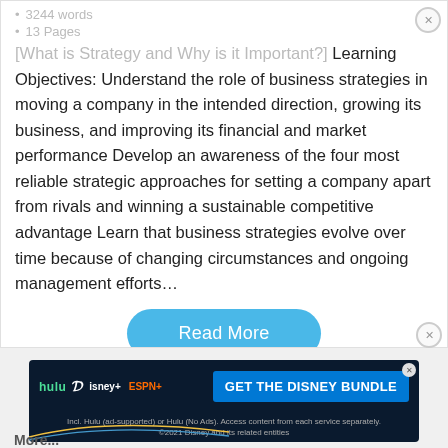3244 words
13 Pages
[What is Strategy and Why is it Important?] Learning Objectives: Understand the role of business strategies in moving a company in the intended direction, growing its business, and improving its financial and market performance Develop an awareness of the four most reliable strategic approaches for setting a company apart from rivals and winning a sustainable competitive advantage Learn that business strategies evolve over time because of changing circumstances and ongoing management efforts…
Read More
[Figure (infographic): Disney Bundle advertisement banner showing Hulu, Disney+, and ESPN+ logos with 'GET THE DISNEY BUNDLE' call-to-action button on dark blue background]